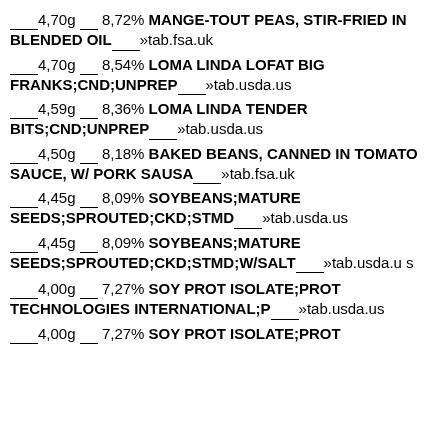___4,80g __ 8,72% MANGE-TOUT PEAS, STIR-FRIED IN BLENDED OIL___»tab.fsa.uk
___4,70g __ 8,54% LOMA LINDA LOFAT BIG FRANKS;CND;UNPREP___»tab.usda.us
___4,59g __ 8,36% LOMA LINDA TENDER BITS;CND;UNPREP___»tab.usda.us
___4,50g __ 8,18% BAKED BEANS, CANNED IN TOMATO SAUCE, W/ PORK SAUSA___»tab.fsa.uk
___4,45g __ 8,09% SOYBEANS;MATURE SEEDS;SPROUTED;CKD;STMD___»tab.usda.us
___4,45g __ 8,09% SOYBEANS;MATURE SEEDS;SPROUTED;CKD;STMD;W/SALT___»tab.usda.us
___4,00g __ 7,27% SOY PROT ISOLATE;PROT TECHNOLOGIES INTERNATIONAL;P___»tab.usda.us
___4,00g __ 7,27% SOY PROT ISOLATE;PROT